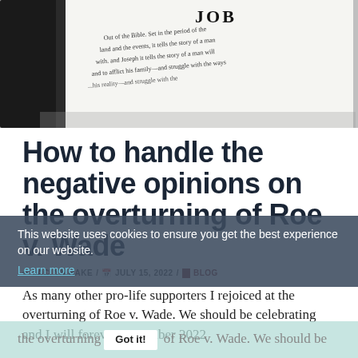[Figure (photo): Close-up black and white photo of an open Bible showing the Book of Job title]
How to handle the negative opinions on the overturning of Roe v. Wade
✏ JACLYN HAKE / 📅 JULY 15, 2022 / 🔖 BLOG
As many other pro-life supporters I rejoiced at the overturning of Roe v. Wade. We should be celebrating and I will forever remember 2022
This website uses cookies to ensure you get the best experience on our website.
Learn more
Got it!